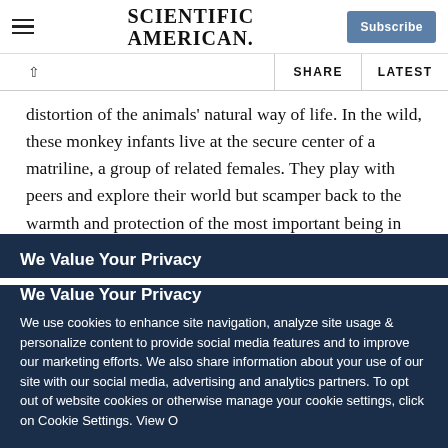SCIENTIFIC AMERICAN
distortion of the animals' natural way of life. In the wild, these monkey infants live at the secure center of a matriline, a group of related females. They play with peers and explore their world but scamper back to the warmth and protection of the most important being in their lives, the mother.
At the LCE, in contrast, the motherless infants undergo
We Value Your Privacy
We use cookies to enhance site navigation, analyze site usage & personalize content to provide social media features and to improve our marketing efforts. We also share information about your use of our site with our social media, advertising and analytics partners. To opt out of website cookies or otherwise manage your cookie settings, click on Cookie Settings. View O